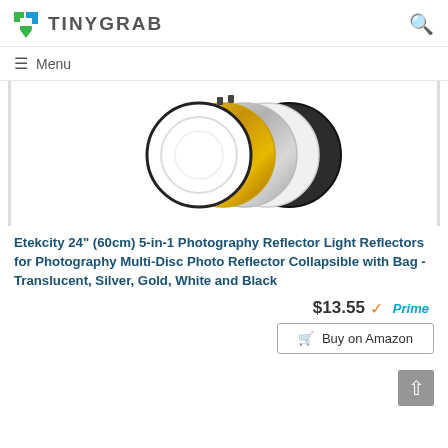TINYGRAB
≡ Menu
[Figure (photo): Photography reflector 5-in-1 disc set, showing white, silver, gold, translucent and black panels fanned out]
Etekcity 24" (60cm) 5-in-1 Photography Reflector Light Reflectors for Photography Multi-Disc Photo Reflector Collapsible with Bag - Translucent, Silver, Gold, White and Black
$13.55 ✓Prime
🛒 Buy on Amazon